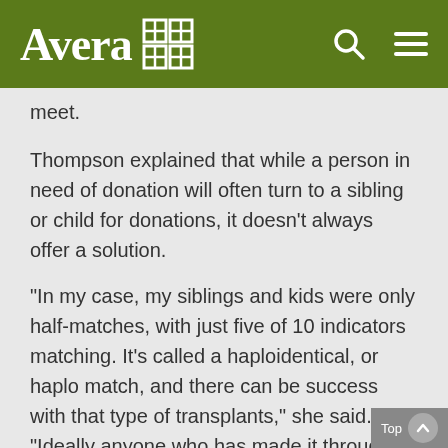Avera
meet.
Thompson explained that while a person in need of donation will often turn to a sibling or child for donations, it doesn't always offer a solution.
"In my case, my siblings and kids were only half-matches, with just five of 10 indicators matching. It's called a haploidentical, or haplo match, and there can be success with that type of transplants," she said. "Ideally anyone who has made it through the survival point to get a stem cell transplant wants the best chances at